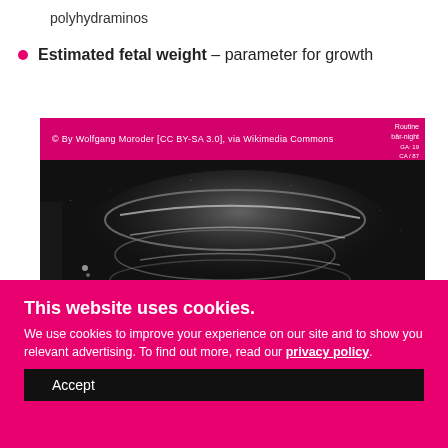polyhydraminos
Estimated fetal weight – parameter for growth
[Figure (photo): Ultrasound image of a fetus with a magenta header bar showing copyright: © By Wolfgang Moroder [CC BY-SA 3.0], via Wikimedia Commons. Top right shows scanner parameters: Routine, bär-night, and blue text PS1 23, SRI II 3.]
This website uses cookies.
We use cookies to improve your experience on our site and to show you relevant advertising. To find out more, read our privacy policy.
Accept